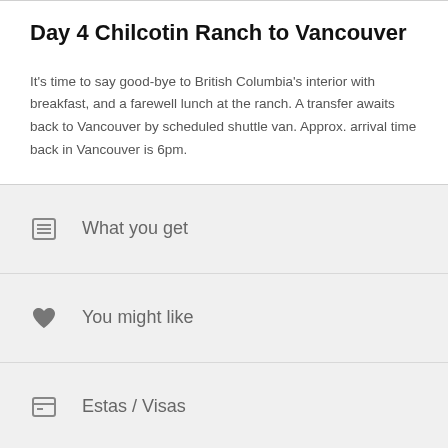Day 4 Chilcotin Ranch to Vancouver
It’s time to say good-bye to British Columbia’s interior with breakfast, and a farewell lunch at the ranch. A transfer awaits back to Vancouver by scheduled shuttle van. Approx. arrival time back in Vancouver is 6pm.
What you get
You might like
Estas / Visas
Book It